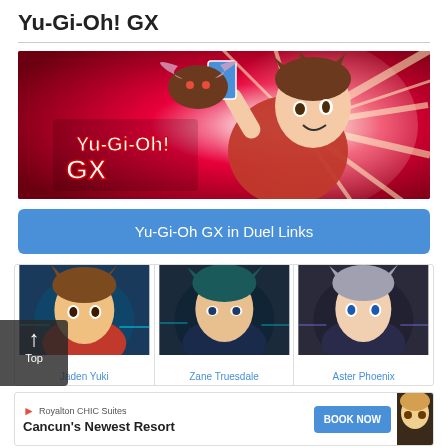Yu-Gi-Oh! GX
[Figure (illustration): Yu-Gi-Oh! GX promotional banner showing main character Jaden holding a duel monster card with a winged creature, set against a red/pink burst background with the Yu-Gi-Oh! GX logo.]
Yu-Gi-Oh GX in Duel Links
[Figure (photo): Three character portraits from Yu-Gi-Oh GX game: Jaden Yuki (brown-haired boy), Zane Truesdale (dark teal-haired character), and Aster Phoenix (grey-haired character with blue eyes), each labeled with their name in blue text.]
Jaden Yuki    Zane Truesdale    Aster Phoenix
[Figure (other): Advertisement for Royalton CHIC Suites, Cancun's Newest Resort with a BOOK NOW button, alongside a partial anime character thumbnail.]